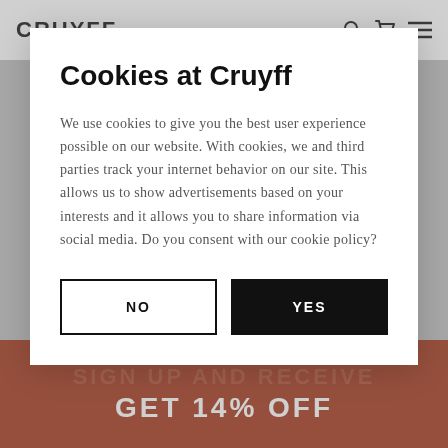CRUYFF
Cookies at Cruyff
We use cookies to give you the best user experience possible on our website. With cookies, we and third parties track your internet behavior on our site. This allows us to show advertisements based on your interests and it allows you to share information via social media. Do you consent with our cookie policy?
NO
YES
GET 14% OFF